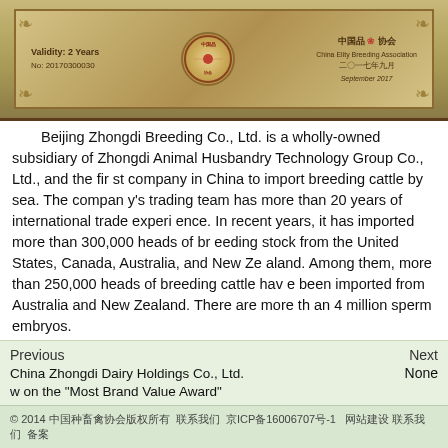[Figure (photo): An ornamental certificate or award plaque with golden decorative borders, Chinese and English text, and a circular red seal stamp. Text visible includes Chinese characters for China and association names, and a date of September 2017.]
Beijing Zhongdi Breeding Co., Ltd. is a wholly-owned subsidiary of Zhongdi Animal Husbandry Technology Group Co., Ltd., and the first company in China to import breeding cattle by sea. The company's trading team has more than 20 years of international trade experience. In recent years, it has imported more than 300,000 heads of breeding stock from the United States, Canada, Australia, and New Zealand. Among them, more than 250,000 heads of breeding cattle have been imported from Australia and New Zealand. There are more than 4 million sperm embryos.
Beijing Zhongdi Breeding Co., Ltd. will take this as an opportunity to closely follow the main line of the national supply-side structural reform, focusing on quality, brand, standards, service, reputation and efficiency, and centering on the "quality for survival, quality for development" Spirit, cherish honor, make persistent efforts, continue to create new achievements, give full play to the role of demonstration and leadership, continue to expand the brand effect of quality and integrity, and promote the development of China's animal husbandry!
Previous | Next
China Zhongdi Dairy Holdings Co., Ltd. won the "Most Brand Value Award" | None
© 2014 中国种业协会 京ICP备16006707号-1 网站建设 京公网安备 备案